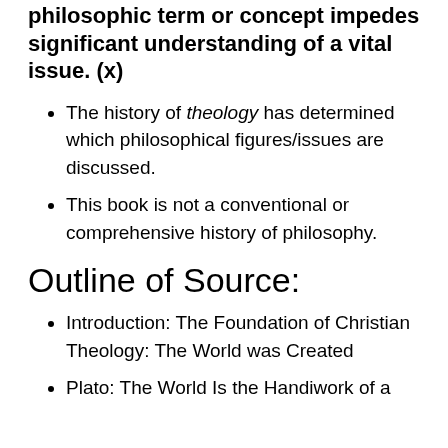philosophic term or concept impedes significant understanding of a vital issue. (x)
The history of theology has determined which philosophical figures/issues are discussed.
This book is not a conventional or comprehensive history of philosophy.
Outline of Source:
Introduction: The Foundation of Christian Theology: The World was Created
Plato: The World Is the Handiwork of a